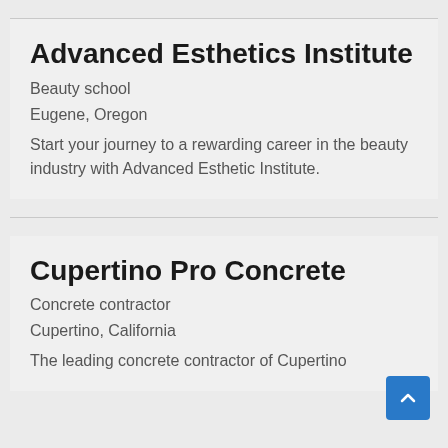Advanced Esthetics Institute
Beauty school
Eugene, Oregon
Start your journey to a rewarding career in the beauty industry with Advanced Esthetic Institute.
Cupertino Pro Concrete
Concrete contractor
Cupertino, California
The leading concrete contractor of Cupertino